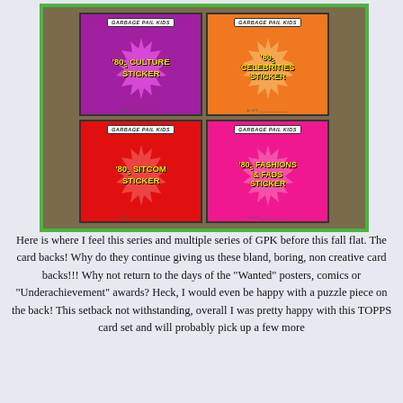[Figure (illustration): Four Garbage Pail Kids trading card backs arranged in a 2x2 grid on a garbage-themed background with a green border. Cards show: '80s Culture Sticker (purple), '80s Celebrities Sticker (orange), '80s Sitcom Sticker (red), '80s Fashions & Fads Sticker (hot pink). Each card has the Garbage Pail Kids logo at top.]
Here is where I feel this series and multiple series of GPK before this fall flat. The card backs! Why do they continue giving us these bland, boring, non creative card backs!!! Why not return to the days of the "Wanted" posters, comics or "Underachievement" awards? Heck, I would even be happy with a puzzle piece on the back! This setback not withstanding, overall I was pretty happy with this TOPPS card set and will probably pick up a few more